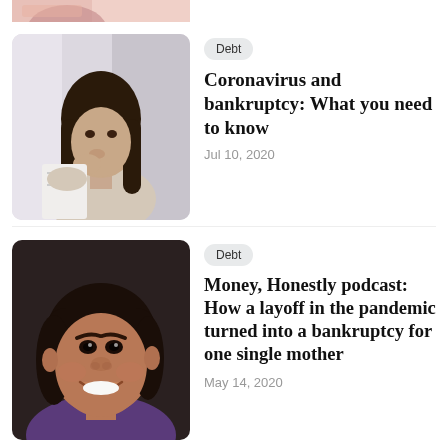[Figure (photo): Partial top strip of a photo showing a person in pink/light clothing — cropped at top of page]
[Figure (photo): Woman with dark hair looking worried while reading a document, holding her chin]
Debt
Coronavirus and bankruptcy: What you need to know
Jul 10, 2020
[Figure (photo): Close-up portrait of a smiling woman with dark hair and a purple top]
Debt
Money, Honestly podcast: How a layoff in the pandemic turned into a bankruptcy for one single mother
May 14, 2020